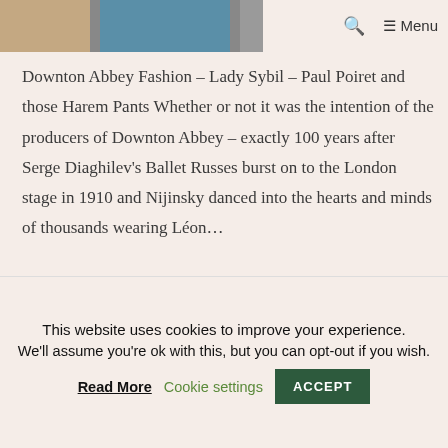[Figure (photo): Partial image strip showing fashion/period costume photographs at top of page]
🔍  ≡ Menu
Downton Abbey Fashion – Lady Sybil – Paul Poiret and those Harem Pants Whether or not it was the intention of the producers of Downton Abbey – exactly 100 years after Serge Diaghilev's Ballet Russes burst on to the London stage in 1910 and Nijinsky danced into the hearts and minds of thousands wearing Léon…
This website uses cookies to improve your experience. We'll assume you're ok with this, but you can opt-out if you wish. Read More Cookie settings ACCEPT